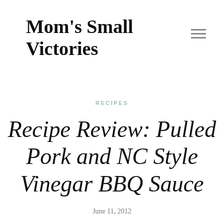Mom's Small Victories
RECIPES
Recipe Review: Pulled Pork and NC Style Vinegar BBQ Sauce
June 11, 2012